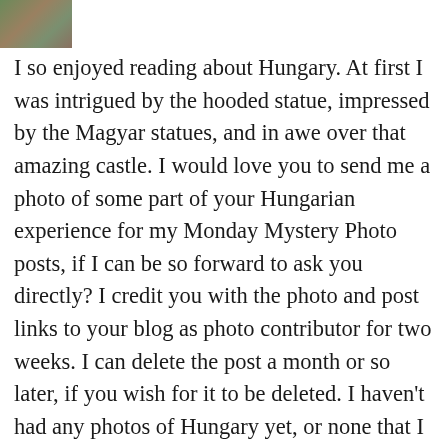[Figure (photo): Small thumbnail photo in top-left corner, appears to show an outdoor scene with greenery and earth tones]
I so enjoyed reading about Hungary. At first I was intrigued by the hooded statue, impressed by the Magyar statues, and in awe over that amazing castle. I would love you to send me a photo of some part of your Hungarian experience for my Monday Mystery Photo posts, if I can be so forward to ask you directly? I credit you with the photo and post links to your blog as photo contributor for two weeks. I can delete the post a month or so later, if you wish for it to be deleted. I haven't had any photos of Hungary yet, or none that I can remember. Thanks for considering. And seeing that photo with the Langos, at the Markets,